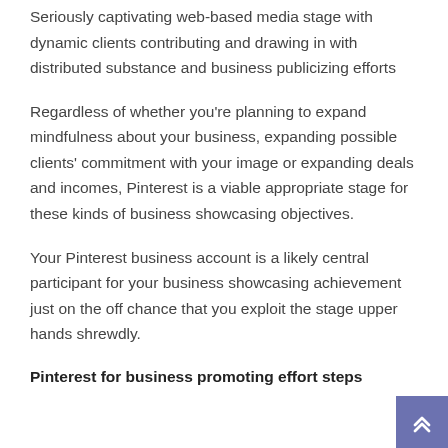Seriously captivating web-based media stage with dynamic clients contributing and drawing in with distributed substance and business publicizing efforts
Regardless of whether you're planning to expand mindfulness about your business, expanding possible clients' commitment with your image or expanding deals and incomes, Pinterest is a viable appropriate stage for these kinds of business showcasing objectives.
Your Pinterest business account is a likely central participant for your business showcasing achievement just on the off chance that you exploit the stage upper hands shrewdly.
Pinterest for business promoting effort steps